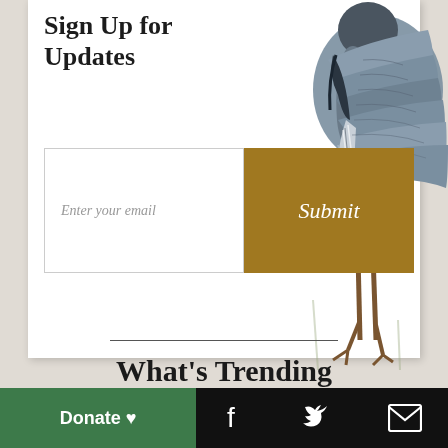Sign Up for Updates
Enter your email
Submit
[Figure (illustration): Illustration of a great blue heron standing, showing detailed feathers in gray and blue tones with brown legs, positioned in the upper right of the signup card]
What's Trending
Donate ♥  [Facebook icon]  [Twitter icon]  [Email icon]